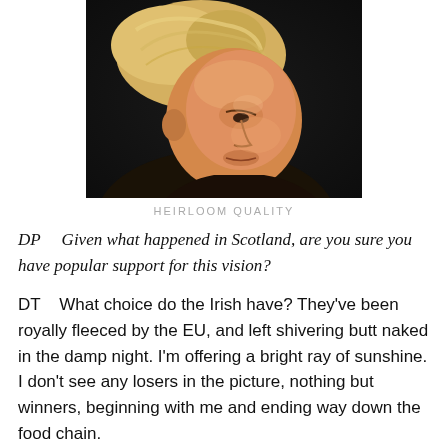[Figure (photo): Close-up side profile photograph of a man with blonde hair against a dark background]
HEIRLOOM QUALITY
DP    Given what happened in Scotland, are you sure you have popular support for this vision?
DT    What choice do the Irish have? They've been royally fleeced by the EU, and left shivering butt naked in the damp night. I'm offering a bright ray of sunshine. I don't see any losers in the picture, nothing but winners, beginning with me and ending way down the food chain.